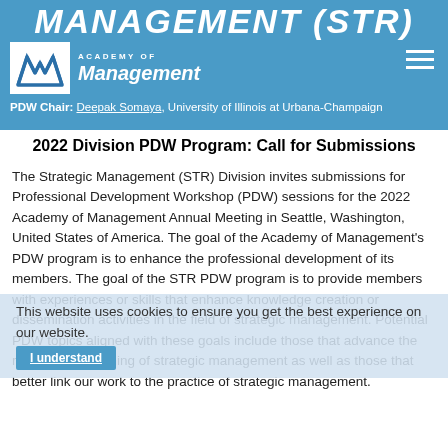MANAGEMENT (STR)
[Figure (logo): Academy of Management logo with mountain/M symbol in white box, text 'ACADEMY OF Management' in white]
PDW Chair: Deepak Somaya, University of Illinois at Urbana-Champaign
2022 Division PDW Program: Call for Submissions
The Strategic Management (STR) Division invites submissions for Professional Development Workshop (PDW) sessions for the 2022 Academy of Management Annual Meeting in Seattle, Washington, United States of America. The goal of the Academy of Management's PDW program is to enhance the professional development of its members. The goal of the STR PDW program is to provide members with experiences or skills that enhance knowledge creation or dissemination activities in the field of strategic management. Potential PDW topics aligned with these goals include those that advance the research or teaching of strategic management as well as those that better link our work to the practice of strategic management.
This website uses cookies to ensure you get the best experience on our website.